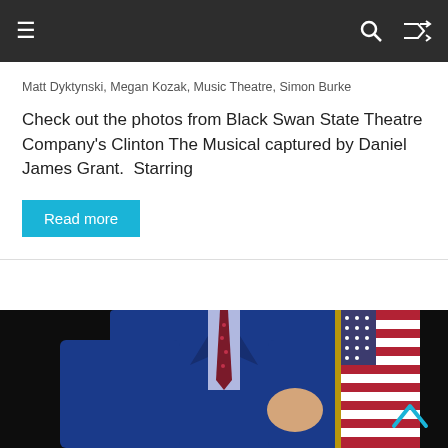Navigation bar with hamburger menu, search icon, and shuffle icon
Matt Dyktynski, Megan Kozak, Music Theatre, Simon Burke
Check out the photos from Black Swan State Theatre Company's Clinton The Musical captured by Daniel James Grant.  Starring
Read more
[Figure (photo): A man in a blue suit with a red/maroon patterned tie, standing in front of an American flag on a dark background. The figure is cropped from mid-torso upward.]